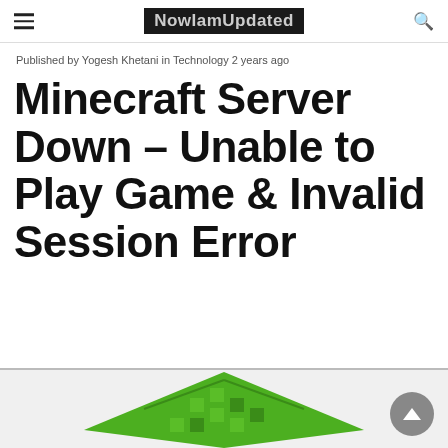NowIamUpdated
Published by Yogesh Khetani in Technology 2 years ago
Minecraft Server Down – Unable to Play Game & Invalid Session Error
[Figure (illustration): Minecraft grass block or green pixelated diamond shape at the bottom of the page, partially visible]